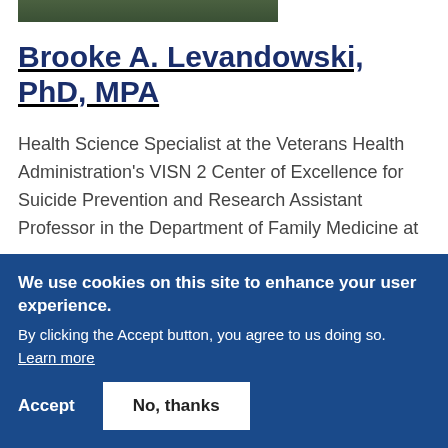[Figure (photo): Partial photo strip showing top edge of a person outdoors with dark clothing and foliage background]
Brooke A. Levandowski, PhD, MPA
Health Science Specialist at the Veterans Health Administration's VISN 2 Center of Excellence for Suicide Prevention and Research Assistant Professor in the Department of Family Medicine at
We use cookies on this site to enhance your user experience. By clicking the Accept button, you agree to us doing so. Learn more
Accept
No, thanks